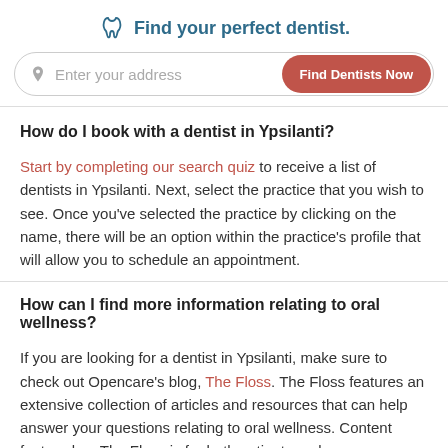Find your perfect dentist.
How do I book with a dentist in Ypsilanti?
Start by completing our search quiz to receive a list of dentists in Ypsilanti. Next, select the practice that you wish to see. Once you've selected the practice by clicking on the name, there will be an option within the practice's profile that will allow you to schedule an appointment.
How can I find more information relating to oral wellness?
If you are looking for a dentist in Ypsilanti, make sure to check out Opencare's blog, The Floss. The Floss features an extensive collection of articles and resources that can help answer your questions relating to oral wellness. Content featured on The Floss is for both patients and